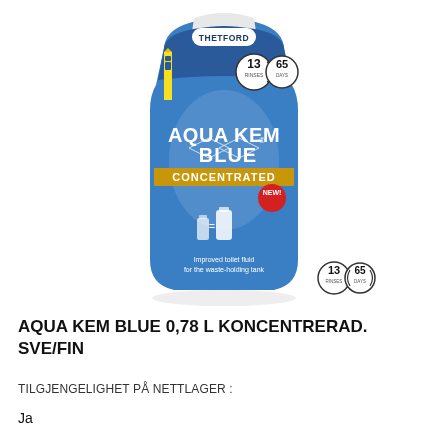[Figure (photo): Thetford Aqua Kem Blue Concentrated 0.78L bottle product photo. Blue squeeze bottle with white cap, THETFORD logo at top, circular badges showing '13' and '65', 'AQUA KEM BLUE' in large white text, 'CONCENTRATED' in yellow/gold text, red 'NEW!' badge, two bottle size comparison icons, and text 'Improved toilet fluid for the waste-holding tank'. Additional standalone circles showing '13' and '65' visible bottom right of image.]
AQUA KEM BLUE 0,78 L KONCENTRERAD. SVE/FIN
TILGJENGELIGHET PÅ NETTLAGER :
Ja